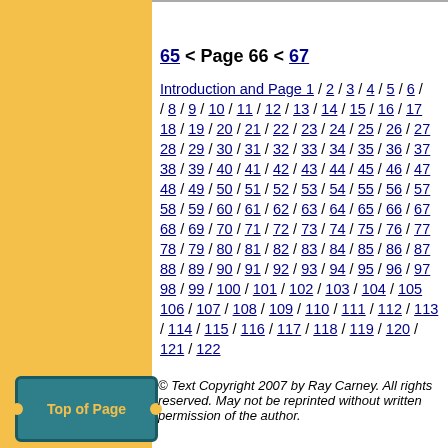65 < Page 66 < 67
Introduction and Page 1 / 2 / 3 / 4 / 5 / 6 / 7 / 8 / 9 / 10 / 11 / 12 / 13 / 14 / 15 / 16 / 17 / 18 / 19 / 20 / 21 / 22 / 23 / 24 / 25 / 26 / 27 / 28 / 29 / 30 / 31 / 32 / 33 / 34 / 35 / 36 / 37 / 38 / 39 / 40 / 41 / 42 / 43 / 44 / 45 / 46 / 47 / 48 / 49 / 50 / 51 / 52 / 53 / 54 / 55 / 56 / 57 / 58 / 59 / 60 / 61 / 62 / 63 / 64 / 65 / 66 / 67 / 68 / 69 / 70 / 71 / 72 / 73 / 74 / 75 / 76 / 77 / 78 / 79 / 80 / 81 / 82 / 83 / 84 / 85 / 86 / 87 / 88 / 89 / 90 / 91 / 92 / 93 / 94 / 95 / 96 / 97 / 98 / 99 / 100 / 101 / 102 / 103 / 104 / 105 / 106 / 107 / 108 / 109 / 110 / 111 / 112 / 113 / 114 / 115 / 116 / 117 / 118 / 119 / 120 / 121 / 122
Top of Page
© Text Copyright 2007 by Ray Carney. All rights reserved. May not be reprinted without written permission of the author.